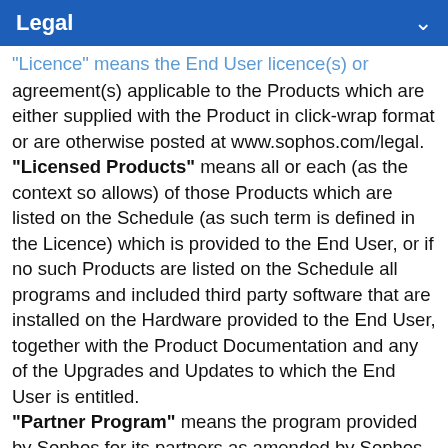Legal
"Licence" means the End User licence(s) or agreement(s) applicable to the Products which are either supplied with the Product in click-wrap format or are otherwise posted at www.sophos.com/legal.
"Licensed Products" means all or each (as the context so allows) of those Products which are listed on the Schedule (as such term is defined in the Licence) which is provided to the End User, or if no such Products are listed on the Schedule all programs and included third party software that are installed on the Hardware provided to the End User, together with the Product Documentation and any of the Upgrades and Updates to which the End User is entitled.
"Partner Program" means the program provided by Sophos for its partners as amended by Sophos from time to time.
"Personal Information" shall mean personally identifiable information or data concerning or relating to individuals which is collected or received in the